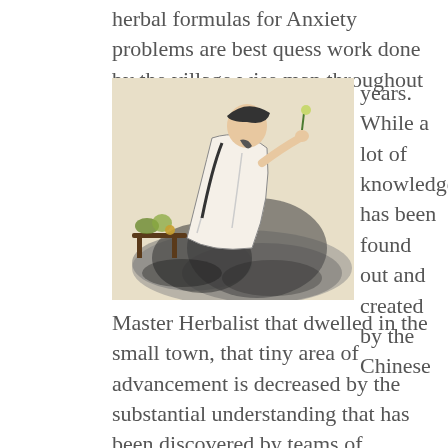herbal formulas for Anxiety problems are best quess work done by the village wise man throughout the
[Figure (illustration): Traditional Chinese ink wash painting of a wise man or herbalist seated on rocks, wearing white robes, examining a small plant or flower. A small table with plants/fruits is visible to the left.]
years. While a lot of knowledge has been found out and created by the Chinese
Master Herbalist that dwelled in the small town, that tiny area of advancement is decreased by the substantial understanding that has been discovered by teams of Chinese Master herbalists and their entire schools researching on Anxiety formulas under the command of the Emperor for a great number of generations. Chinese herbal formulations have been fashioned to remedy every one of the correlated afflictions, including Anxiety problems,